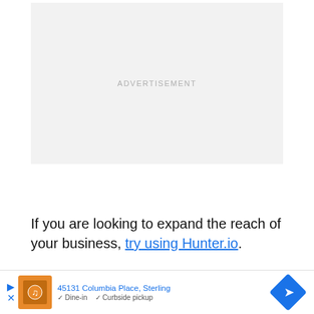[Figure (other): Advertisement placeholder box with light gray background and centered ADVERTISEMENT label text]
If you are looking to expand the reach of your business, try using Hunter.io.
Hunter.io is a browser extension that is mainly used to speed up your outreach tool, you can
[Figure (other): Browser bottom bar overlay showing a map result: address 45131 Columbia Place, Sterling with Dine-in and Curbside pickup indicators, a restaurant thumbnail, and a blue navigation direction diamond icon]